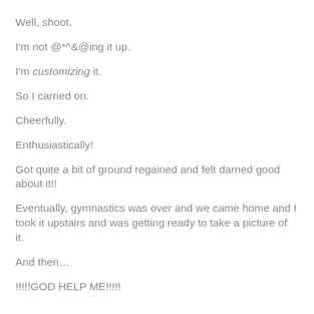Well, shoot.
I'm not @*^&@ing it up.
I'm customizing it.
So I carried on.
Cheerfully.
Enthusiastically!
Got quite a bit of ground regained and felt darned good about it!!
Eventually, gymnastics was over and we came home and I took it upstairs and was getting ready to take a picture of it.
And then…
!!!!!GOD HELP ME!!!!!